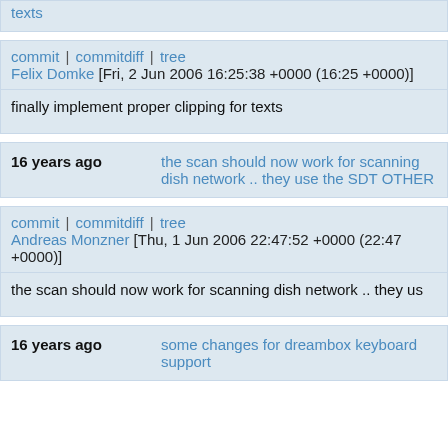texts
commit | commitdiff | tree
Felix Domke [Fri, 2 Jun 2006 16:25:38 +0000 (16:25 +0000)]
finally implement proper clipping for texts
16 years ago    the scan should now work for scanning dish network .. they use the SDT OTHER
commit | commitdiff | tree
Andreas Monzner [Thu, 1 Jun 2006 22:47:52 +0000 (22:47 +0000)]
the scan should now work for scanning dish network .. they us
16 years ago    some changes for dreambox keyboard support